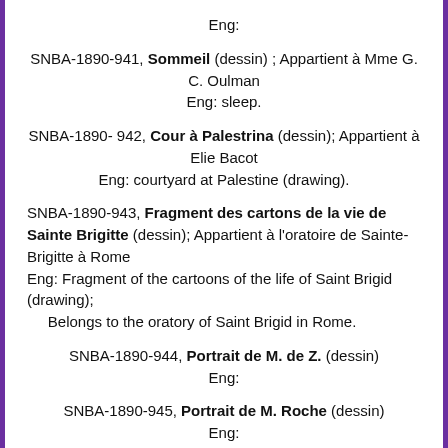Eng:
SNBA-1890-941, Sommeil (dessin) ; Appartient à Mme G. C. Oulman
Eng: sleep.
SNBA-1890- 942, Cour à Palestrina (dessin); Appartient à Elie Bacot
Eng: courtyard at Palestine (drawing).
SNBA-1890-943, Fragment des cartons de la vie de Sainte Brigitte (dessin); Appartient à l'oratoire de Sainte-Brigitte à Rome
Eng: Fragment of the cartoons of the life of Saint Brigid (drawing); Belongs to the oratory of Saint Brigid in Rome.
SNBA-1890-944, Portrait de M. de Z. (dessin)
Eng:
SNBA-1890-945, Portrait de M. Roche (dessin)
Eng:
SNBA-1890-946, Tota (dessin); Appartient à Sir Frédéric Leighton.